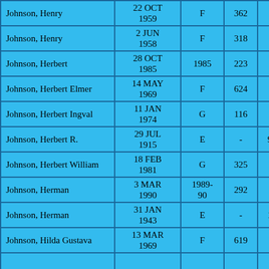| Johnson, Henry | 22 OCT
1959 | F | 362 | 5 |
| Johnson, Henry | 2 JUN
1958 | F | 318 | 7 |
| Johnson, Herbert | 28 OCT
1985 | 1985 | 223 | - |
| Johnson, Herbert Elmer | 14 MAY
1969 | F | 624 | 6 |
| Johnson, Herbert Ingval | 11 JAN
1974 | G | 116 | 1 |
| Johnson, Herbert R. | 29 JUL
1915 | E | - | 91 |
| Johnson, Herbert William | 18 FEB
1981 | G | 325 | 6 |
| Johnson, Herman | 3 MAR
1990 | 1989-
90 | 292 | - |
| Johnson, Herman | 31 JAN
1943 | E | - | 12 |
| Johnson, Hilda Gustava | 13 MAR
1969 | F | 619 | 6 |
| Johnson, Hil... | 13 DEC | ... | ... | ... |